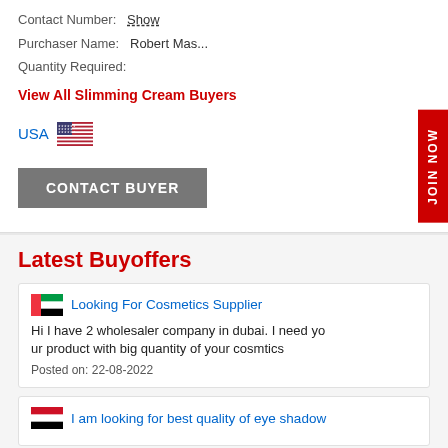Contact Number: Show
Purchaser Name: Robert Mas...
Quantity Required:
View All Slimming Cream Buyers
USA
CONTACT BUYER
JOIN NOW
Latest Buyoffers
Looking For Cosmetics Supplier
Hi I have 2 wholesaler company in dubai. I need your product with big quantity of your cosmtics
Posted on: 22-08-2022
I am looking for best quality of eye shadow